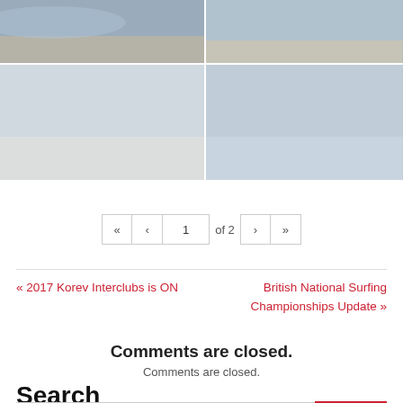[Figure (photo): Top-left surfing event photo, beach crowd scene]
[Figure (photo): Top-right surfing event photo, surfer on beach]
[Figure (photo): Bottom-left photo, group of people with flags/banners celebrating]
[Figure (photo): Bottom-right photo, smiling person in water]
« ‹ 1 of 2 › »
« 2017 Korev Interclubs is ON
British National Surfing Championships Update »
Comments are closed.
Comments are closed.
Search